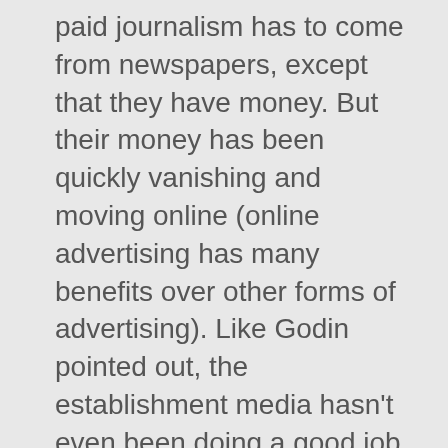paid journalism has to come from newspapers, except that they have money. But their money has been quickly vanishing and moving online (online advertising has many benefits over other forms of advertising). Like Godin pointed out, the establishment media hasn't even been doing a good job lately.
So better questions are: how can established media companies profitably move online and still do quality journalism, and can upstart online media companies make enough money to pay for quality journalism?